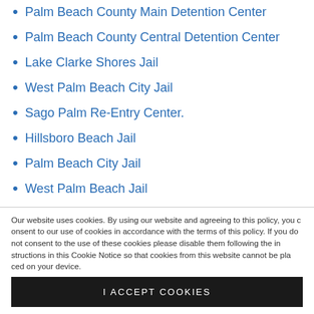Palm Beach County Main Detention Center
Palm Beach County Central Detention Center
Lake Clarke Shores Jail
West Palm Beach City Jail
Sago Palm Re-Entry Center.
Hillsboro Beach Jail
Palm Beach City Jail
West Palm Beach Jail
Other Types of Correctional Facilities in Florida
Our website uses cookies. By using our website and agreeing to this policy, you consent to our use of cookies in accordance with the terms of this policy. If you do not consent to the use of these cookies please disable them following the instructions in this Cookie Notice so that cookies from this website cannot be placed on your device.
I ACCEPT COOKIES